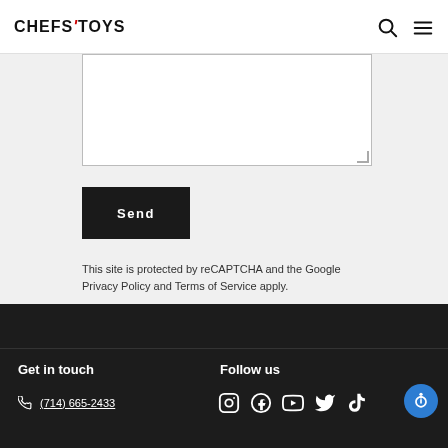Chefs Toys
[Figure (screenshot): Text input textarea field (white box, resizable)]
[Figure (screenshot): Send button - dark/black rectangle with white text 'Send']
This site is protected by reCAPTCHA and the Google Privacy Policy and Terms of Service apply.
Get in touch | Follow us | (714) 665-2433 | Social media icons: Instagram, Facebook, YouTube, Twitter, TikTok